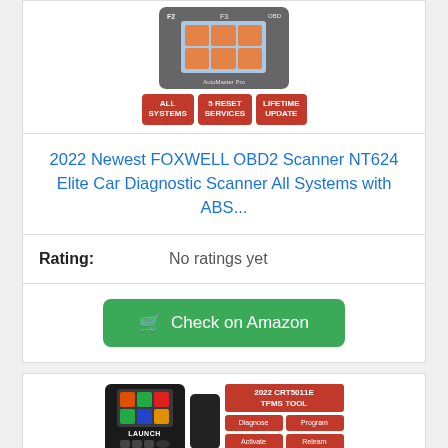[Figure (photo): FOXWELL OBD2 Scanner NT624 Elite product image with All Systems, 5 Reset Services, and Lifetime Update badges]
2022 Newest FOXWELL OBD2 Scanner NT624 Elite Car Diagnostic Scanner All Systems with ABS...
Rating:   No ratings yet
Check on Amazon
[Figure (photo): LAUNCH CRT5011E TPMS Tool 2022 product image showing the scanner device with feature badges]